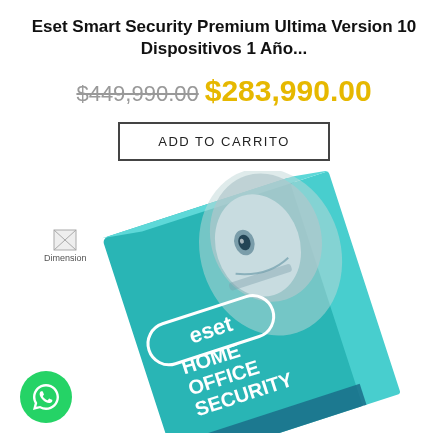Eset Smart Security Premium Ultima Version 10 Dispositivos 1 Año...
$449,990.00 $283,990.00
ADD TO CARRITO
[Figure (photo): ESET Home Office Security product box tilted at an angle, showing the eset logo and 'HOME OFFICE SECURITY' text on a teal/turquoise box, with a robot/android face on the cover. A green WhatsApp button appears in the bottom-left corner. A small 'Dimension' image placeholder is also visible in the lower-left area.]